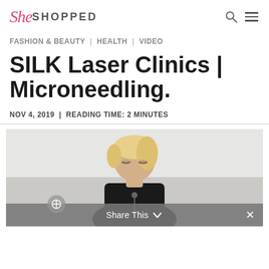SheSHOPPED
FASHION & BEAUTY | HEALTH | VIDEO
SILK Laser Clinics | Microneedling.
NOV 4, 2019 | READING TIME: 2 MINUTES
[Figure (photo): Blonde woman in black outfit looking downward, photographed against light background]